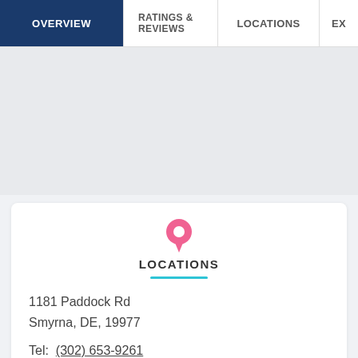OVERVIEW | RATINGS & REVIEWS | LOCATIONS | EX
[Figure (other): Map area placeholder with light gray background]
LOCATIONS
1181 Paddock Rd
Smyrna, DE, 19977
Tel: (302) 653-9261
[Figure (other): Bottom card with stethoscope icon partially visible]